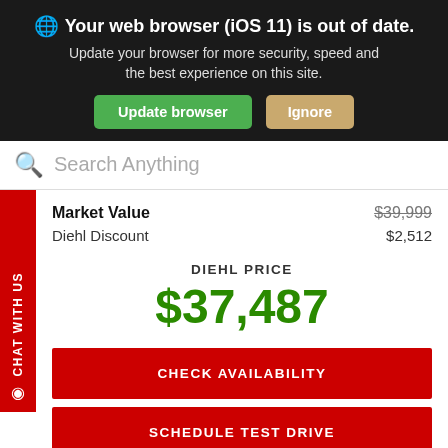🌐 Your web browser (iOS 11) is out of date. Update your browser for more security, speed and the best experience on this site. [Update browser] [Ignore]
Search Anything
Market Value  $39,999
Diehl Discount  $2,512
DIEHL PRICE
$37,487
CHECK AVAILABILITY
SCHEDULE TEST DRIVE
Filter 465 Results ∧